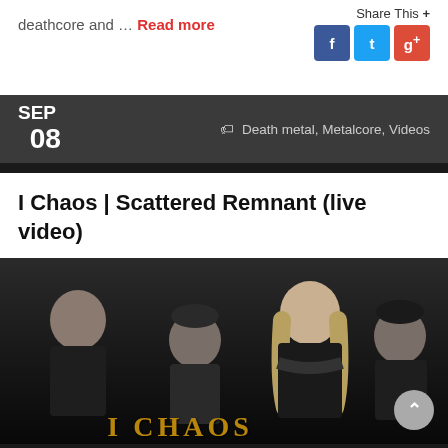deathcore and … Read more
Share This +
SEP 08
Death metal, Metalcore, Videos
I Chaos | Scattered Remnant (live video)
[Figure (photo): Band photo of I Chaos, four members posing against a dark background, with a stylized logo at the bottom]
^